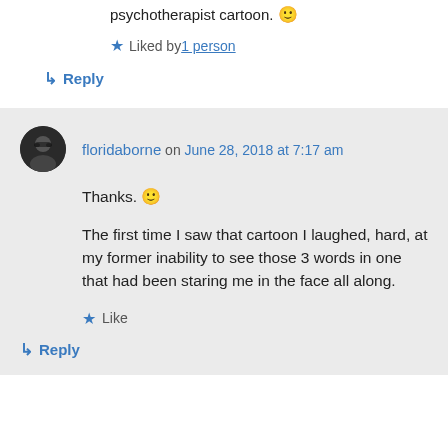Wordplay can be fun. Good one on the psychotherapist cartoon. 🙂
★ Liked by 1 person
↳ Reply
floridaborne on June 28, 2018 at 7:17 am
Thanks. 🙂
The first time I saw that cartoon I laughed, hard, at my former inability to see those 3 words in one that had been staring me in the face all along.
★ Like
↳ Reply